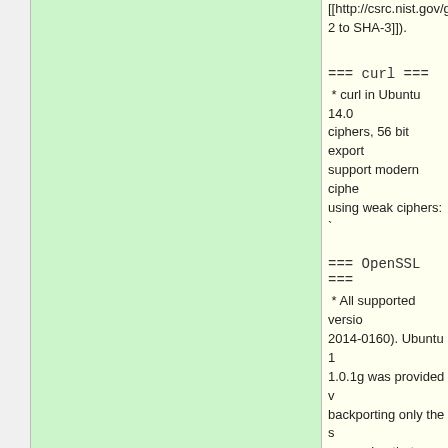[[http://csrc.nist.gov/g 2 to SHA-3]]).
=== curl ===
* curl in Ubuntu 14.0 ciphers, 56 bit export support modern ciphe using weak ciphers: `
=== OpenSSL ===
* All supported versio 2014-0160). Ubuntu 1 1.0.1g was provided v backporting only the s regression that was ir
=== webkit ===
Due to various upstre version releases only. (based on Chromium better support 3rd pa fast, secure and up to